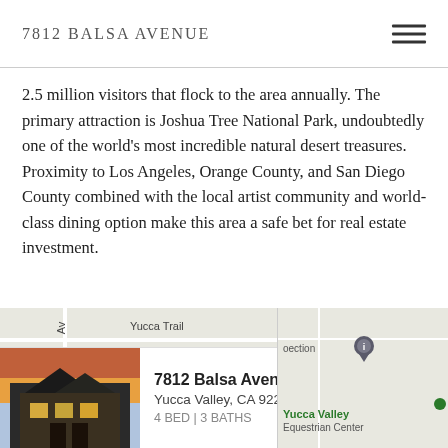7812 Balsa Avenue
2.5 million visitors that flock to the area annually. The primary attraction is Joshua Tree National Park, undoubtedly one of the world’s most incredible natural desert treasures. Proximity to Los Angeles, Orange County, and San Diego County combined with the local artist community and world-class dining option make this area a safe bet for real estate investment.
[Figure (map): Street map showing the area around 7812 Balsa Avenue, Yucca Valley CA 92284, with Yucca Trail labeled and a property info card overlay showing a thumbnail photo of the building, address, and 4 BED | 3 BATHS.]